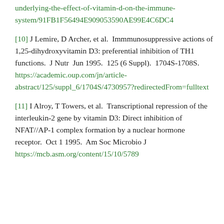underlying-the-effect-of-vitamin-d-on-the-immune-system/91FB1F56494E909053590AE99E4C6DC4
[10] J Lemire, D Archer, et al.  Immmunosuppressive actions of 1,25-dihydroxyvitamin D3: preferential inhibition of TH1 functions.  J Nutr  Jun 1995.  125 (6 Suppl).  1704S-1708S.  https://academic.oup.com/jn/article-abstract/125/suppl_6/1704S/4730957?redirectedFrom=fulltext
[11] I Alroy, T Towers, et al.  Transcriptional repression of the interleukin-2 gene by vitamin D3: Direct inhibition of NFAT//AP-1 complex formation by a nuclear hormone receptor.  Oct 1 1995.  Am Soc Microbio J  https://mcb.asm.org/content/15/10/5789